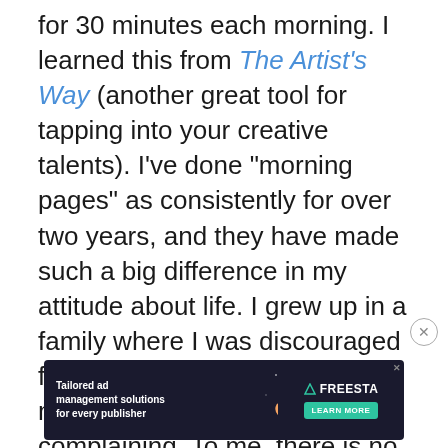for 30 minutes each morning. I learned this from The Artist's Way (another great tool for tapping into your creative talents). I've done "morning pages" as consistently for over two years, and they have made such a big difference in my attitude about life. I grew up in a family where I was discouraged from talking too much about myself, especially when I was complaining. To me, there is no comfort that can compare to the privilege of being able to sit down for 30 minutes to write about
[Figure (screenshot): Advertisement banner for Freesta showing tailored ad management solutions for every publisher with a dark background and illustrated character]